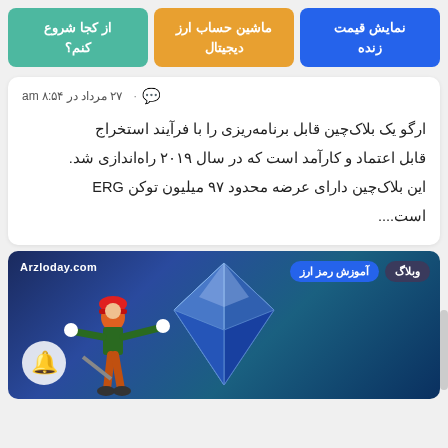[Figure (screenshot): Three navigation buttons: blue 'نمایش قیمت زنده', orange 'ماشین حساب ارز دیجیتال', teal 'از کجا شروع کنم?']
۲۷ مرداد در ۸:۵۴ am  ۰
ارگو یک بلاک‌چین قابل برنامه‌ریزی را با فرآیند استخراج قابل اعتماد و کارآمد است که در سال ۲۰۱۹ راه‌اندازی شد. این بلاک‌چین دارای عرضه محدود ۹۷ میلیون توکن ERG است....
[Figure (illustration): Promotional banner image showing a miner character pointing at an Ethereum diamond logo, with badges 'وبلاگ' and 'آموزش رمز ارز', site label 'Arzloday.com', and a bell notification icon.]